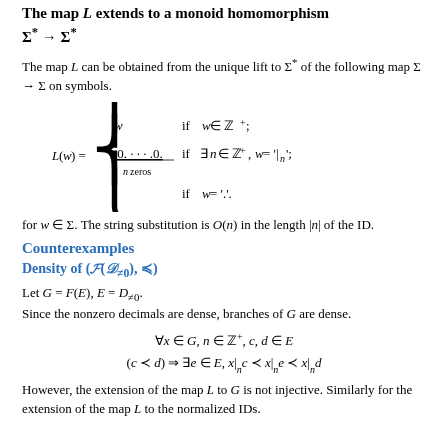The map L extends to a monoid homomorphism Σ* → Σ*
The map L can be obtained from the unique lift to Σ* of the following map Σ → Σ on symbols.
for w ∈ Σ. The string substitution is O(n) in the length |n| of the ID.
Counterexamples
Density of (F(D≠0), ≼)
Let G = F(E), E = D≠0. Since the nonzero decimals are dense, branches of G are dense.
However, the extension of the map L to G is not injective. Similarly for the extension of the map L to the normalized IDs.